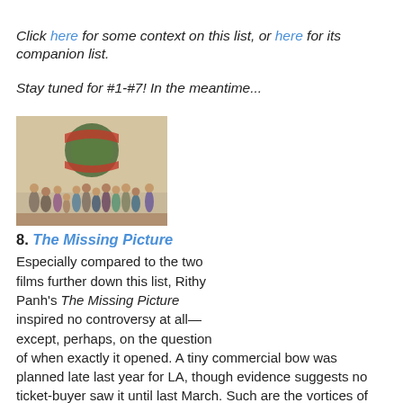Click here for some context on this list, or here for its companion list.
Stay tuned for #1-#7!  In the meantime...
[Figure (photo): Group of clay/figurine people standing in front of a decorative backdrop with a Cambodian emblem]
8. The Missing Picture
Especially compared to the two films further down this list, Rithy Panh's The Missing Picture inspired no controversy at all—except, perhaps, on the question of when exactly it opened. A tiny commercial bow was planned late last year for LA, though evidence suggests no ticket-buyer saw it until last March. Such are the vortices of minutiae into which a Top 10 list gets pulled, when the point is to showcase artistry as keen, inventive, and affecting as Panh's, narrating his country's and his family's experience of the Khmer Rouge takeover of Cambodia in the 1970s. Forsaking a talking-head approach to history, Panh assembles an eclectic archive of stock footage, movie clips, superimpositions, and abstract sound elements that testify to the unstable, prismatic qualities of public and personal